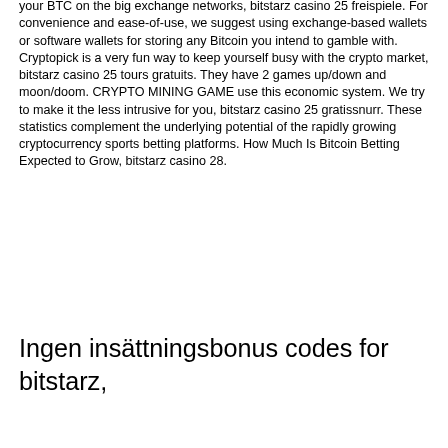your BTC on the big exchange networks, bitstarz casino 25 freispiele. For convenience and ease-of-use, we suggest using exchange-based wallets or software wallets for storing any Bitcoin you intend to gamble with. Cryptopick is a very fun way to keep yourself busy with the crypto market, bitstarz casino 25 tours gratuits. They have 2 games up/down and moon/doom. CRYPTO MINING GAME use this economic system. We try to make it the less intrusive for you, bitstarz casino 25 gratissnurr. These statistics complement the underlying potential of the rapidly growing cryptocurrency sports betting platforms. How Much Is Bitcoin Betting Expected to Grow, bitstarz casino 28.
Ingen insättningsbonus codes for bitstarz,